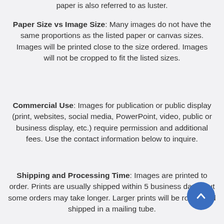paper is also referred to as luster.
Paper Size vs Image Size: Many images do not have the same proportions as the listed paper or canvas sizes. Images will be printed close to the size ordered. Images will not be cropped to fit the listed sizes.
Commercial Use: Images for publication or public display (print, websites, social media, PowerPoint, video, public or business display, etc.) require permission and additional fees. Use the contact information below to inquire.
Shipping and Processing Time: Images are printed to order. Prints are usually shipped within 5 business days, but some orders may take longer. Larger prints will be rolled and shipped in a mailing tube.